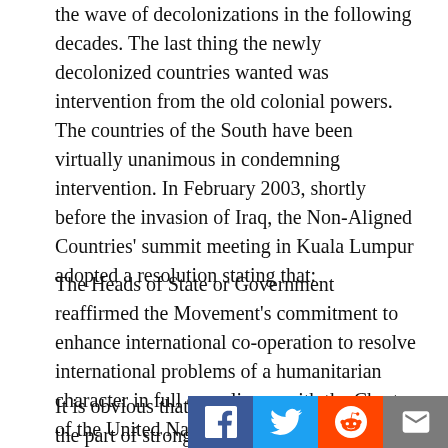the wave of decolonizations in the following decades. The last thing the newly decolonized countries wanted was intervention from the old colonial powers.  The countries of the South have been virtually unanimous in condemning intervention. In February 2003, shortly before the invasion of Iraq, the Non-Aligned Countries' summit meeting in Kuala Lumpur adopted a resolution stating that:
The Heads of State or Government reaffirmed the Movement's commitment to enhance international co-operation to resolve international problems of a humanitarian character in full compliance with the Charter of the United Nations, and, in this regard, they reiterated the rejection by the Non-Aligned Movement of the so-called “right” of humanitarian intervention, which has no basis either in the Charter of the United Nations or in international law.[1]
It is obvious that such “interventions” o p on the part of strong States against weak States.  It can